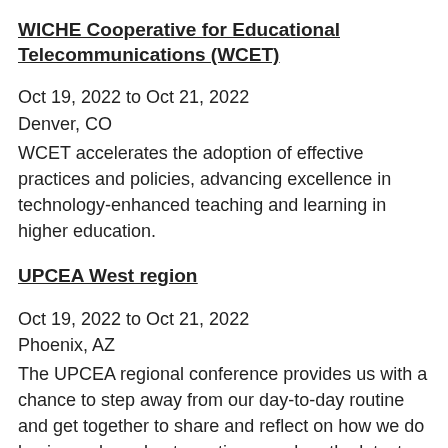WICHE Cooperative for Educational Telecommunications (WCET)
Oct 19, 2022 to Oct 21, 2022
Denver, CO
WCET accelerates the adoption of effective practices and policies, advancing excellence in technology-enhanced teaching and learning in higher education.
UPCEA West region
Oct 19, 2022 to Oct 21, 2022
Phoenix, AZ
The UPCEA regional conference provides us with a chance to step away from our day-to-day routine and get together to share and reflect on how we do business, learn best practices, explore the latest technology and products, visit with old friends, and make new ones.
Closing The Gap